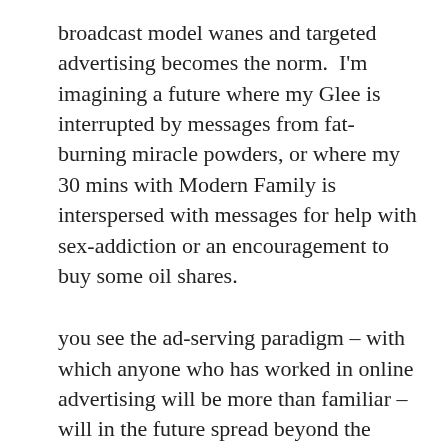broadcast model wanes and targeted advertising becomes the norm.  I'm imagining a future where my Glee is interrupted by messages from fat-burning miracle powders, or where my 30 mins with Modern Family is interspersed with messages for help with sex-addiction or an encouragement to buy some oil shares.
you see the ad-serving paradigm – with which anyone who has worked in online advertising will be more than familiar – will in the future spread beyond the computer screen. to hand-held devices and then, as